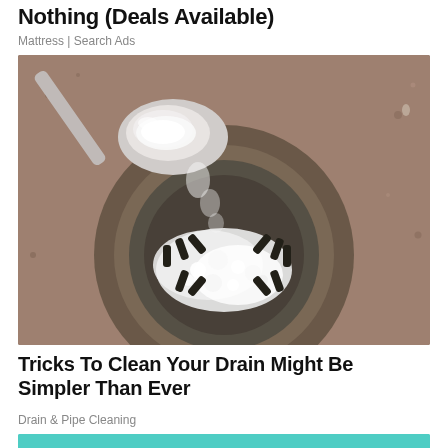Nothing (Deals Available)
Mattress | Search Ads
[Figure (photo): Close-up photo of a spoon pouring white powder (baking soda) into a metal sink drain strainer, showing the powder fizzing/bubbling on the drain grate. Background is a stainless steel sink surface.]
Tricks To Clean Your Drain Might Be Simpler Than Ever
Drain & Pipe Cleaning
[Figure (photo): Bottom portion of advertisement with teal/turquoise background, partially visible.]